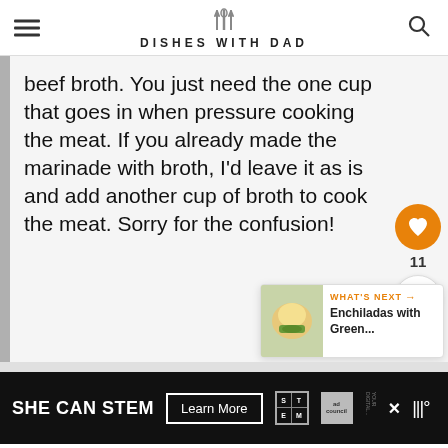DISHES WITH DAD
beef broth. You just need the one cup that goes in when pressure cooking the meat. If you already made the marinade with broth, I'd leave it as is and add another cup of broth to cook the meat. Sorry for the confusion!
[Figure (other): What's Next card showing Enchiladas with Green...]
[Figure (other): SHE CAN STEM advertisement banner with Learn More button, STEM grid logo, Ad Council logo, and other logos]